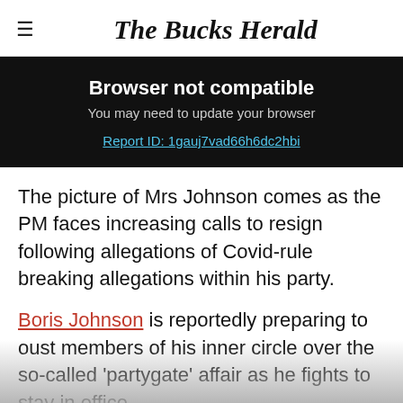The Bucks Herald
[Figure (screenshot): Browser not compatible banner with dark background. Title: 'Browser not compatible'. Subtitle: 'You may need to update your browser'. Link: 'Report ID: 1gauj7vad66h6dc2hbi']
The picture of Mrs Johnson comes as the PM faces increasing calls to resign following allegations of Covid-rule breaking allegations within his party.
Boris Johnson is reportedly preparing to oust members of his inner circle over the so-called 'partygate' affair as he fights to stay in office.